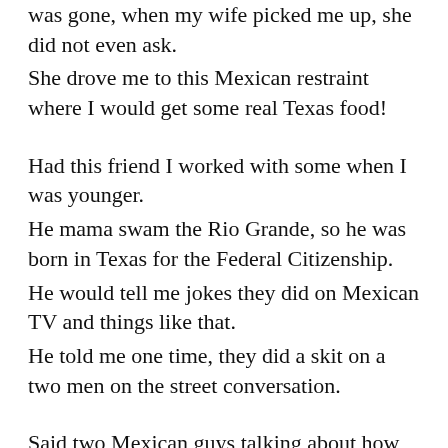was gone, when my wife picked me up, she did not even ask.
She drove me to this Mexican restraint where I would get some real Texas food!
Had this friend I worked with some when I was younger.
He mama swam the Rio Grande, so he was born in Texas for the Federal Citizenship.
He would tell me jokes they did on Mexican TV and things like that.
He told me one time, they did a skit on a two men on the street conversation.
Said two Mexican guys talking about how bad thing are in Mexico.
One says, lets declare war on the USA!